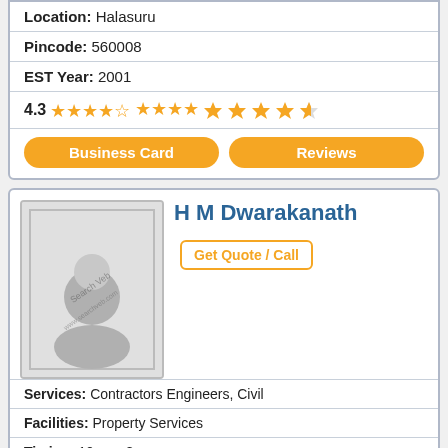Location: Halasuru
Pincode: 560008
EST Year: 2001
4.3 (4.3 stars)
Business Card | Reviews
H M Dwarakanath
Get Quote / Call
Services: Contractors Engineers, Civil
Facilities: Property Services
Timing: 10am - 8pm
Branch: One
Mobile: Call Now
Address: 25717th Cross R M V Extn8 Mn Road
State: Karnataka
City: Bangalore